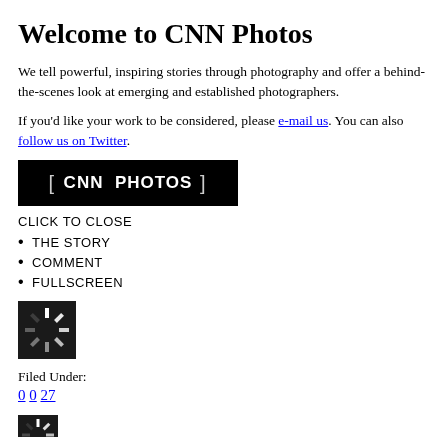Welcome to CNN Photos
We tell powerful, inspiring stories through photography and offer a behind-the-scenes look at emerging and established photographers.
If you'd like your work to be considered, please e-mail us. You can also follow us on Twitter.
[Figure (logo): CNN Photos banner logo — white text on black background with brackets: [ CNN PHOTOS ]]
CLICK TO CLOSE
THE STORY
COMMENT
FULLSCREEN
[Figure (photo): Loading spinner icon — black and white starburst/radial lines on dark background]
Filed Under:
0 0 27
[Figure (photo): Loading spinner icon — black and white starburst/radial lines on dark background (partial)]